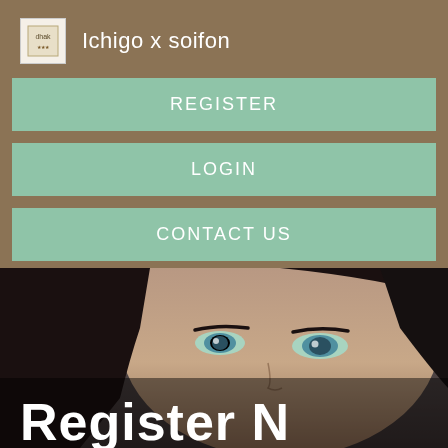Ichigo x soifon
REGISTER
LOGIN
CONTACT US
[Figure (photo): Close-up photo of a dark-haired woman with blue eyes looking intensely at the camera, with text 'Register N' overlaid at the bottom in large white bold letters.]